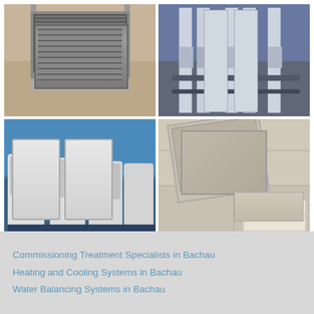[Figure (photo): Ceiling-mounted cassette air conditioning unit on a beige wall]
[Figure (photo): Industrial HVAC pipes and cooling towers on exterior of building]
[Figure (photo): Row of outdoor air conditioning condenser units mounted on exterior wall with glass building reflection]
[Figure (photo): Ceiling cassette air conditioning unit viewed from below, installed in suspended ceiling]
Commissioning Treatment Specialists in Bachau
Heating and Cooling Systems in Bachau
Water Balancing Systems in Bachau